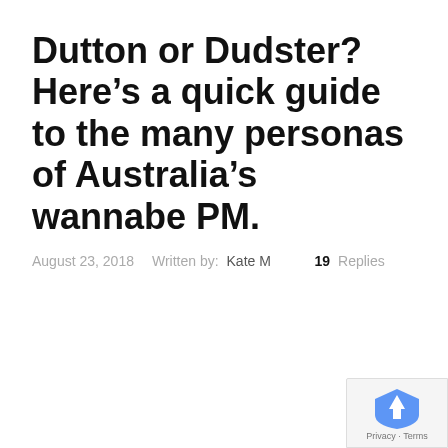Dutton or Dudster? Here’s a quick guide to the many personas of Australia’s wannabe PM.
August 23, 2018    Written by: Kate M    19 Replies
[Figure (logo): reCAPTCHA badge with logo and Privacy · Terms text in bottom right corner]